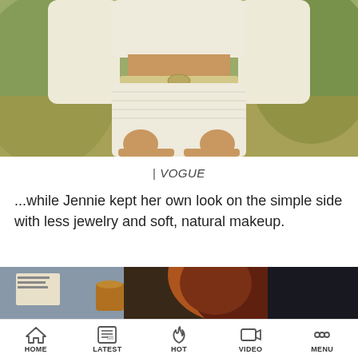[Figure (photo): Fashion photo of a person wearing a cream/white knit crop top and matching knit shorts with a decorative chain belt, set against a blurred outdoor background.]
| VOGUE
...while Jennie kept her own look on the simple side with less jewelry and soft, natural makeup.
[Figure (photo): Partial photo showing a person with reddish-brown hair, dimly lit indoor setting.]
HOME  LATEST  HOT  VIDEO  MENU